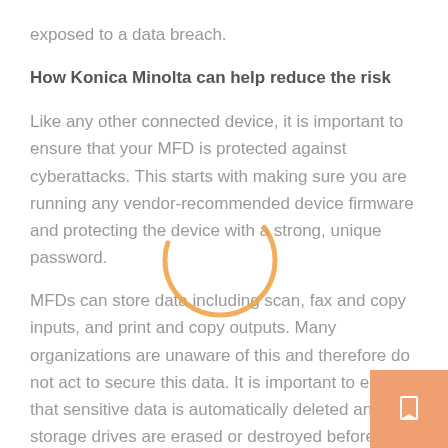exposed to a data breach.
How Konica Minolta can help reduce the risk
Like any other connected device, it is important to ensure that your MFD is protected against cyberattacks. This starts with making sure you are running any vendor-recommended device firmware and protecting the device with a strong, unique password.
MFDs can store data including scan, fax and copy inputs, and print and copy outputs. Many organizations are unaware of this and therefore do not act to secure this data. It is important to ensure that sensitive data is automatically deleted and that storage drives are erased or destroyed before disposing of the MFD.
[Figure (illustration): Partial orange circle outline overlay, decorative element centered over middle body text]
[Figure (other): Orange navigation button with white arrow/bookmark icon in the bottom-right corner]